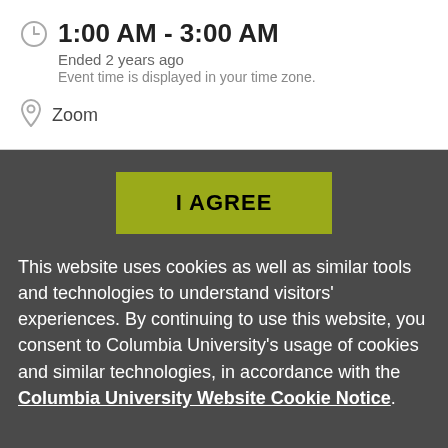1:00 AM - 3:00 AM
Ended 2 years ago
Event time is displayed in your time zone.
Zoom
I AGREE
This website uses cookies as well as similar tools and technologies to understand visitors' experiences. By continuing to use this website, you consent to Columbia University's usage of cookies and similar technologies, in accordance with the Columbia University Website Cookie Notice.